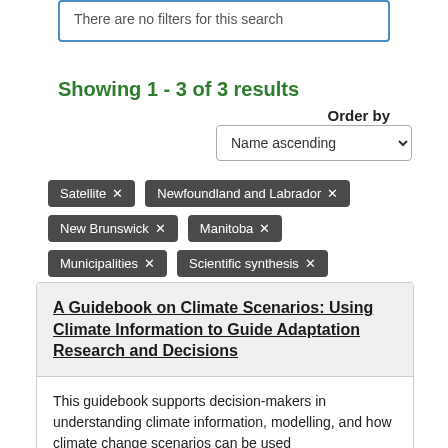There are no filters for this search
Showing 1 - 3 of 3 results
Order by
Name ascending
Satellite ✕
Newfoundland and Labrador ✕
New Brunswick ✕
Manitoba ✕
Municipalities ✕
Scientific synthesis ✕
A Guidebook on Climate Scenarios: Using Climate Information to Guide Adaptation Research and Decisions
This guidebook supports decision-makers in understanding climate information, modelling, and how climate change scenarios can be used